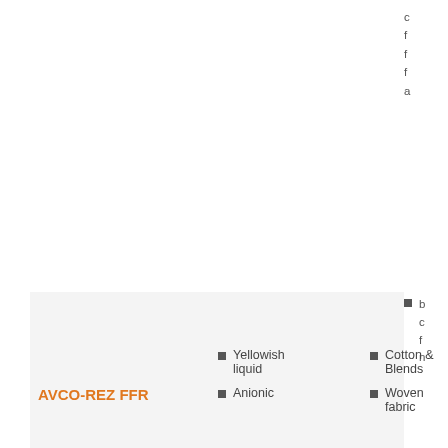c f f f a
b c f n
P c n c s c p f
AVCO-REZ FFR
Yellowish liquid
Anionic
Cotton & Blends
Woven fabric
P c